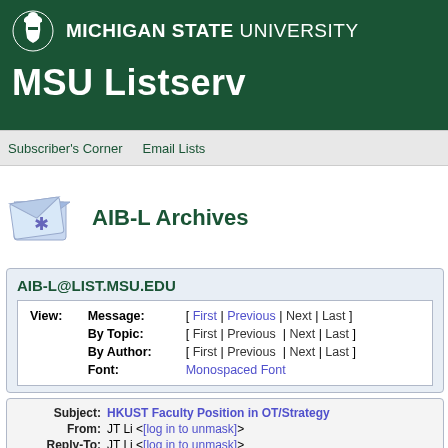MICHIGAN STATE UNIVERSITY
MSU Listserv
Subscriber's Corner   Email Lists
AIB-L Archives
AIB-L@LIST.MSU.EDU
| View: | Label | Navigation |
| --- | --- | --- |
| View: | Message: | [ First | Previous | Next | Last ] |
|  | By Topic: | [ First | Previous | Next | Last ] |
|  | By Author: | [ First | Previous | Next | Last ] |
|  | Font: | Monospaced Font |
| Field | Value |
| --- | --- |
| Subject: | HKUST Faculty Position in OT/Strategy |
| From: | JT Li <[log in to unmask]> |
| Reply-To: | JT Li <[log in to unmask]> |